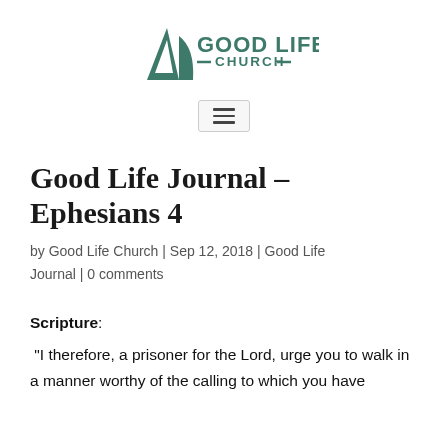[Figure (logo): Good Life Church logo with triangle/sail icon and text GOOD LIFE CHURCH in teal/dark green]
[Figure (other): Hamburger menu icon (three horizontal lines) inside a light gray rounded rectangle box]
Good Life Journal – Ephesians 4
by Good Life Church | Sep 12, 2018 | Good Life Journal | 0 comments
Scripture:
“I therefore, a prisoner for the Lord, urge you to walk in a manner worthy of the calling to which you have